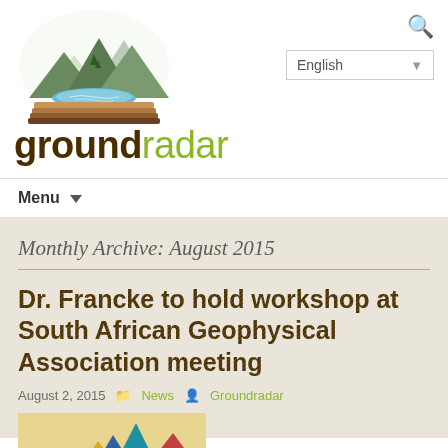[Figure (logo): Groundradar logo: layered earth/landscape illustration with mountains, trees, water, and soil layers in green, blue, and brown tones]
groundradar
Menu
Monthly Archive: August 2015
Dr. Francke to hold workshop at South African Geophysical Association meeting
August 2, 2015  News  Groundradar
[Figure (photo): 14th Biennial Geophysical Conference preview image with colorful mountain shapes and text showing Jan Francke]